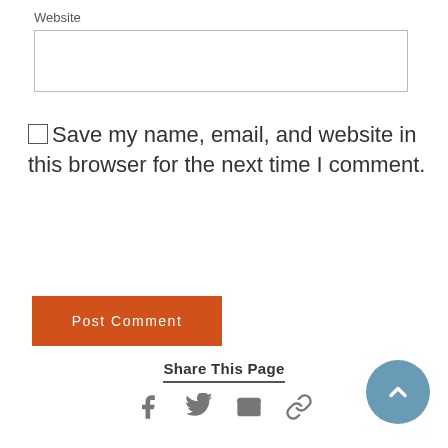Website
[Figure (other): Text input field for website URL]
☐Save my name, email, and website in this browser for the next time I comment.
[Figure (other): Post Comment button (orange)]
Share This Page
[Figure (other): Social share icons: Facebook, Twitter, Email, Link]